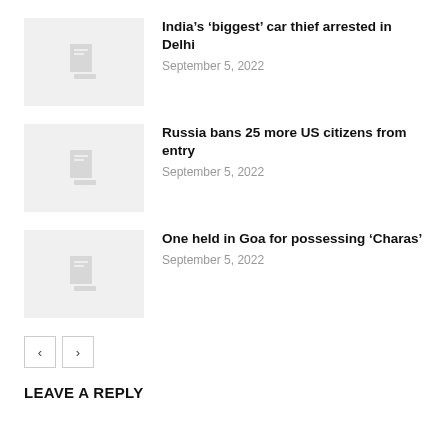India’s ‘biggest’ car thief arrested in Delhi
September 5, 2022
Russia bans 25 more US citizens from entry
September 5, 2022
One held in Goa for possessing ‘Charas’
September 5, 2022
LEAVE A REPLY